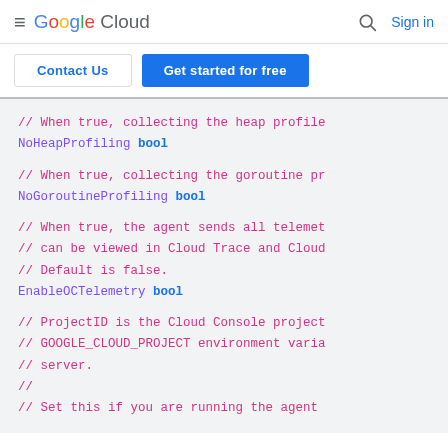Google Cloud  Sign in
Contact Us  Get started for free
[Figure (screenshot): Code snippet showing Go struct field definitions with comments: NoHeapProfiling bool, NoGoroutineProfiling bool, EnableOCTelemetry bool, ProjectID comment block]
// When true, collecting the heap profile
NoHeapProfiling bool

// When true, collecting the goroutine pr
NoGoroutineProfiling bool

// When true, the agent sends all telemet
// can be viewed in Cloud Trace and Cloud
// Default is false.
EnableOCTelemetry bool

// ProjectID is the Cloud Console project
// GOOGLE_CLOUD_PROJECT environment varia
// server.
//
// Set this if you are running the agent